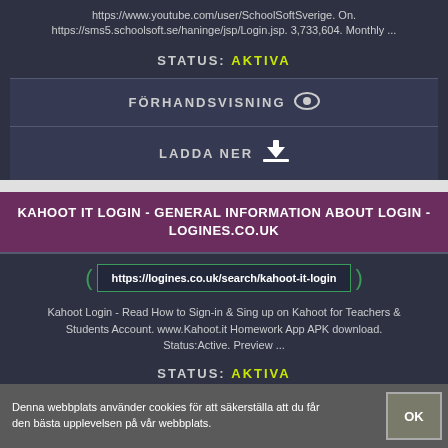https://www.youtube.com/user/SchoolSoftSverige. On. https://sms5.schoolsoft.se/haninge/jsp/Login.jsp. 3,733,604. Monthly ...
STATUS: AKTIVA
FÖRHANDSVISNING
LADDA NER
KAHOOT IT LOGIN - GENERAL INFORMATION ABOUT LOGIN - LOGINES.CO.UK
https://logines.co.uk/search/kahoot-it-login
Kahoot Login - Read How to Sign-in & Sing up on Kahoot for Teachers & Students Account. www.Kahoot.it Homework App APK download. Status:Active. Preview ...
STATUS: AKTIVA
Denna webbplats använder cookies för att säkerställa att du får den bästa upplevelsen på vår webbplats.